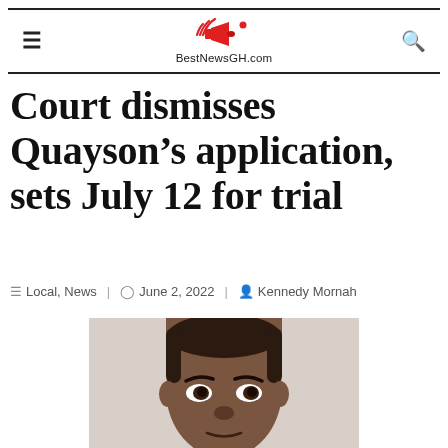BestNewsGH.com
Court dismisses Quayson’s application, sets July 12 for trial
Local, News  June 2, 2022  Kennedy Mornah
[Figure (photo): Portrait photo of a man (Quayson), cropped at the forehead, showing face with close-cropped hair against a light background]